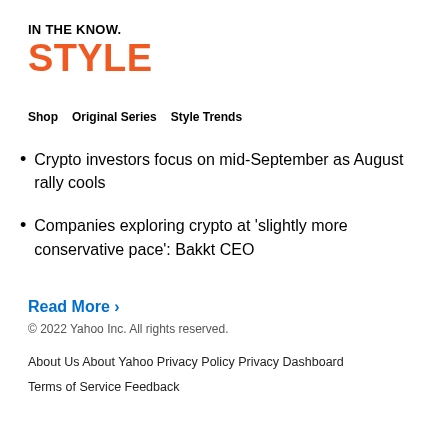IN THE KNOW.
STYLE
Shop   Original Series   Style Trends
Crypto investors focus on mid-September as August rally cools
Companies exploring crypto at 'slightly more conservative pace': Bakkt CEO
Read More ›
© 2022 Yahoo Inc. All rights reserved.
About Us   About Yahoo   Privacy Policy   Privacy Dashboard
Terms of Service   Feedback